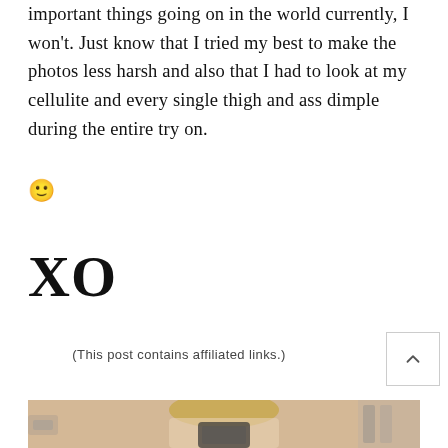important things going on in the world currently, I won't. Just know that I tried my best to make the photos less harsh and also that I had to look at my cellulite and every single thigh and ass dimple during the entire try on.
🙂
XO
(This post contains affiliated links.)
[Figure (photo): A woman with blonde hair taking a mirror selfie in a fitting room, holding a phone. Clothes on hangers visible in background.]